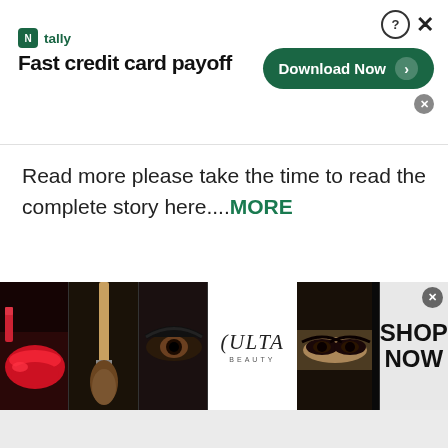[Figure (screenshot): Tally app advertisement banner: logo with 'tally' text and 'Fast credit card payoff' tagline, with 'Download Now' button and close/help icons]
Read more please take the time to read the complete story here....MORE
[Figure (screenshot): Ulta Beauty advertisement banner showing makeup photos (lips, brush, eyes), Ulta Beauty logo, woman's eyes, and 'SHOP NOW' text]